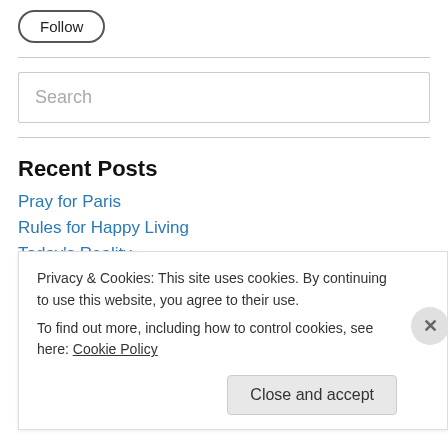Follow
Search
Recent Posts
Pray for Paris
Rules for Happy Living
Today's Reality
Privacy & Cookies: This site uses cookies. By continuing to use this website, you agree to their use.
To find out more, including how to control cookies, see here: Cookie Policy
Close and accept